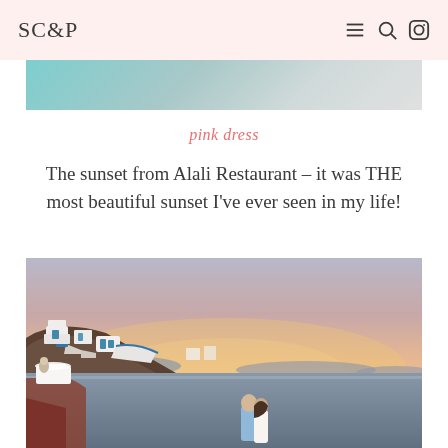SC&P
[Figure (photo): Top portion of a travel photo, partially visible at the top of the page]
pink dress
The sunset from Alali Restaurant – it was THE most beautiful sunset I've ever seen in my life!
[Figure (photo): Sunset view from Alali Restaurant in Santorini, Greece, showing whitewashed cliffside buildings, the caldera, and a couple posing for a photo with warm pink and orange sky]